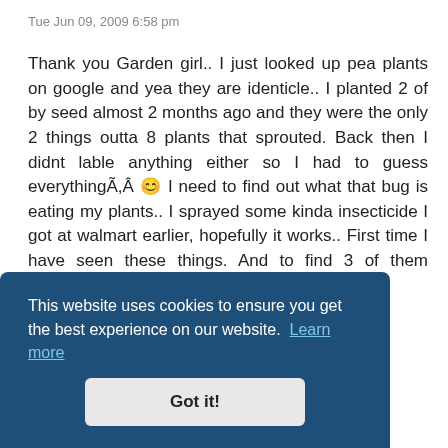Tue Jun 09, 2009 6:58 pm
Thank you Garden girl.. I just looked up pea plants on google and yea they are identicle.. I planted 2 of by seed almost 2 months ago and they were the only 2 things outta 8 plants that sprouted. Back then I didnt lable anything either so I had to guess everythingÃ,Â 😊 I need to find out what that bug is eating my plants.. I sprayed some kinda insecticide I got at walmart earlier, hopefully it works.. First time I have seen these things. And to find 3 of them sucking on 3 different plants earlier worries me.
This website uses cookies to ensure you get the best experience on our website. Learn more
Got it!